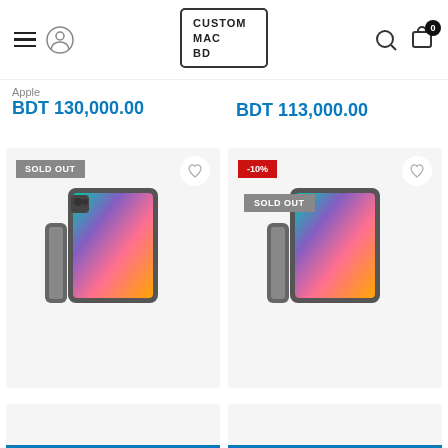[Figure (logo): Custom Mac BD logo with rectangle border, text reads CUSTOM MAC BD]
Apple
BDT 130,000.00
BDT 113,000.00
[Figure (photo): iPad Pro product image with SOLD OUT badge, space gray color with colorful display, wishlist heart icon]
[Figure (photo): iPad Pro product image with -10% discount badge and SOLD OUT badge, space gray color with colorful display, wishlist heart icon]
[Figure (photo): Bottom product card partial view]
[Figure (photo): Bottom product card partial view]